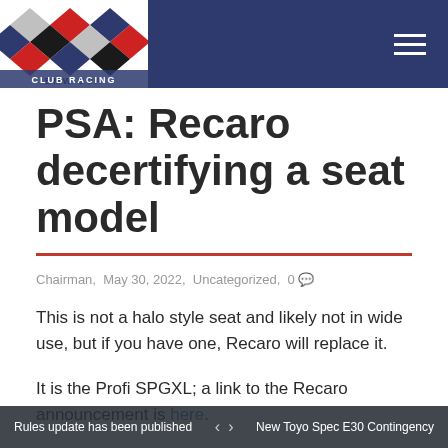BMW CCA Club Racing — navigation header with logo
PSA: Recaro decertifying a seat model
Chairman, May 30, 2022, Uncategorized, 0
This is not a halo style seat and likely not in wide use, but if you have one, Recaro will replace it.
It is the Profi SPGXL; a link to the Recaro announcement is here.
Due to the decertification, BMW CCA Club Racing will not be able to let a competitor on track with this seat in his/her
Rules update has been published   ‹  ›   New Toyo Spec E30 Contingency